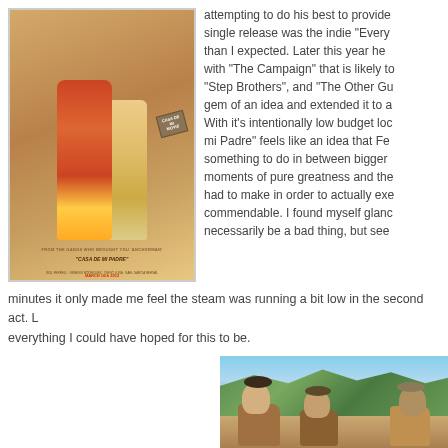[Figure (photo): Movie poster for a film 'Casa de mi Padre', styled like a 1970s Western movie poster. Shows a man and woman embracing, with text 'FROM THE GANGS WHO BROUGHT YOU ANCHORMAN'. Red and orange color scheme.]
attempting to do his best to provide single release was the indie "Every than I expected. Later this year he with "The Campaign" that is likely to "Step Brothers", and "The Other Gu gem of an idea and extended it to a With it's intentionally low budget loo mi Padre" feels like an idea that Fe something to do in between bigger moments of pure greatness and the had to make in order to actually exe commendable. I found myself glanc necessarily be a bad thing, but see minutes it only made me feel the steam was running a bit low in the second act. L everything I could have hoped for this to be.
[Figure (photo): Three men on horseback in a Western outdoor setting with hills and blue sky in the background. They are wearing cowboy hats.]